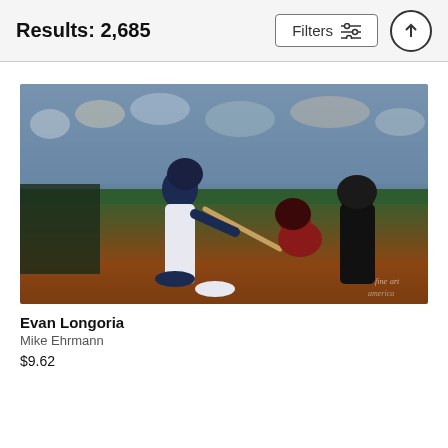Results: 2,685
[Figure (photo): Baseball game photo: a batter in a navy blue uniform (Tampa Bay Rays) swings a bat, a catcher in red crouch behind home plate, and an umpire in black stands nearby, with a crowded stadium in the background. Watermark reads 'fine art america'.]
Evan Longoria
Mike Ehrmann
$9.62